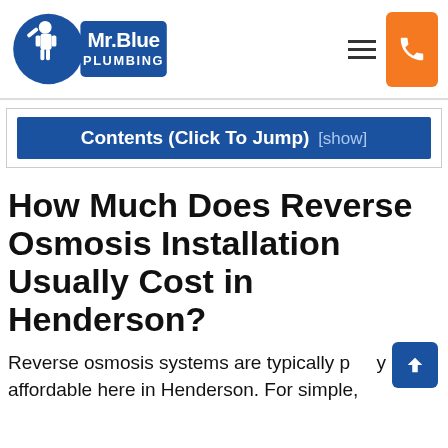Mr. Blue Plumbing
Contents (Click To Jump) [show]
How Much Does Reverse Osmosis Installation Usually Cost in Henderson?
Reverse osmosis systems are typically pretty affordable here in Henderson. For simple,